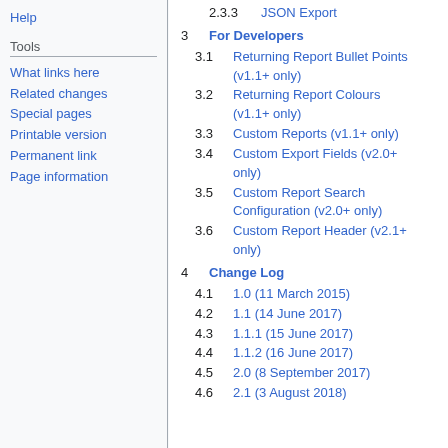Help
Tools
What links here
Related changes
Special pages
Printable version
Permanent link
Page information
2.3.3 JSON Export
3 For Developers
3.1 Returning Report Bullet Points (v1.1+ only)
3.2 Returning Report Colours (v1.1+ only)
3.3 Custom Reports (v1.1+ only)
3.4 Custom Export Fields (v2.0+ only)
3.5 Custom Report Search Configuration (v2.0+ only)
3.6 Custom Report Header (v2.1+ only)
4 Change Log
4.1 1.0 (11 March 2015)
4.2 1.1 (14 June 2017)
4.3 1.1.1 (15 June 2017)
4.4 1.1.2 (16 June 2017)
4.5 2.0 (8 September 2017)
4.6 2.1 (3 August 2018)